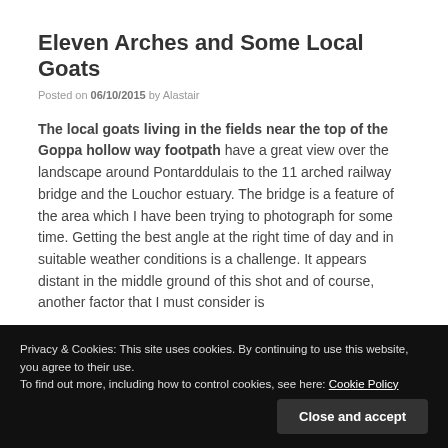Eleven Arches and Some Local Goats
Posted on 06/10/2015 by Alastair
The local goats living in the fields near the top of the Goppa hollow way footpath have a great view over the landscape around Pontarddulais to the 11 arched railway bridge and the Louchor estuary. The bridge is a feature of the area which I have been trying to photograph for some time. Getting the best angle at the right time of day and in suitable weather conditions is a challenge. It appears distant in the middle ground of this shot and of course, another factor that I must consider is
Privacy & Cookies: This site uses cookies. By continuing to use this website, you agree to their use.
To find out more, including how to control cookies, see here: Cookie Policy